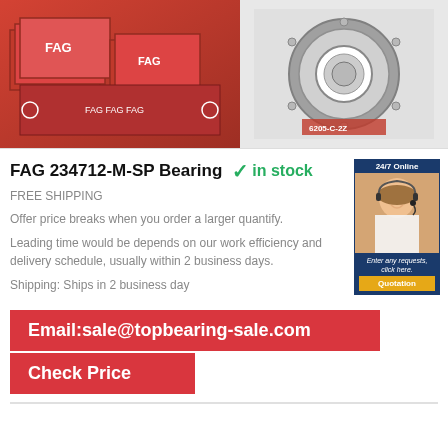[Figure (photo): Left: stacked red FAG bearing boxes with logo. Right: FAG 6205-C-2Z bearing product shot on red packaging background.]
FAG 234712-M-SP Bearing  ✓in stock
FREE SHIPPING
Offer price breaks when you order a larger quantify.
Leading time would be depends on our work efficiency and delivery schedule, usually within 2 business days.
Shipping: Ships in 2 business day
[Figure (photo): 24/7 Online customer service agent banner with quotation button]
Email:sale@topbearing-sale.com
Check Price